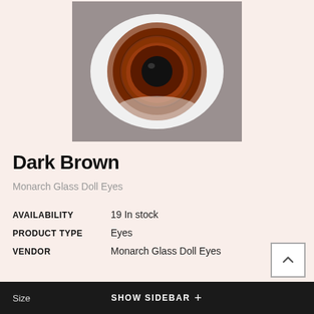[Figure (photo): Close-up photo of a dark brown glass doll eye on a grey background. The eye is oval/elliptical in shape with a white sclera, dark brown iris with reddish-brown texture, and a black circular pupil in the center.]
Dark Brown
Monarch Glass Doll Eyes
| Field | Value |
| --- | --- |
| AVAILABILITY | 19 In stock |
| PRODUCT TYPE | Eyes |
| VENDOR | Monarch Glass Doll Eyes |
$18.25
Size   SHOW SIDEBAR +